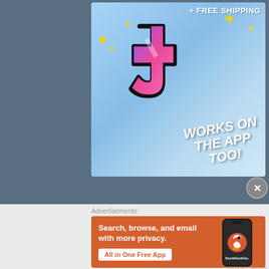[Figure (illustration): Tumblr advertisement with sky blue background, Tumblr 't' logo in pink/purple/white gradient with sparkle stars, text '+ FREE SHIPPING' at top, and 'WORKS ON THE APP TOO!' in large white italic bold text overlaid diagonally]
REPORT THIS AD
Advertisements:
[Figure (illustration): DuckDuckGo advertisement with orange background. Left side shows text 'Search, browse, and email with more privacy.' with a white button 'All in One Free App'. Right side shows a dark smartphone with DuckDuckGo logo and wordmark.]
REPORT THIS AD